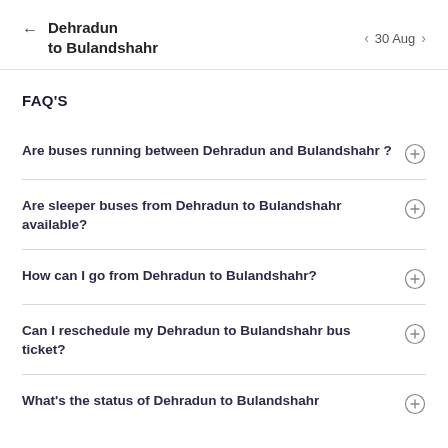Dehradun to Bulandshahr | 30 Aug
FAQ'S
Are buses running between Dehradun and Bulandshahr ?
Are sleeper buses from Dehradun to Bulandshahr available?
How can I go from Dehradun to Bulandshahr?
Can I reschedule my Dehradun to Bulandshahr bus ticket?
What's the status of Dehradun to Bulandshahr